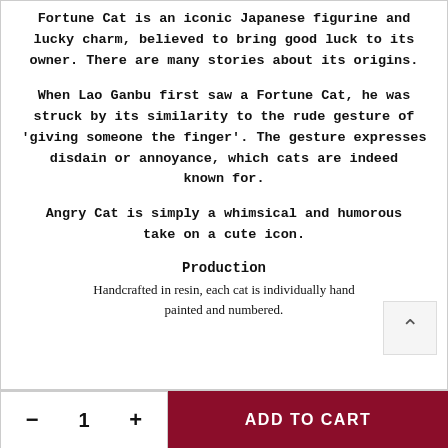Fortune Cat is an iconic Japanese figurine and lucky charm, believed to bring good luck to its owner. There are many stories about its origins.
When Lao Ganbu first saw a Fortune Cat, he was struck by its similarity to the rude gesture of 'giving someone the finger'. The gesture expresses disdain or annoyance, which cats are indeed known for.
Angry Cat is simply a whimsical and humorous take on a cute icon.
Production
Handcrafted in resin, each cat is individually hand painted and numbered.